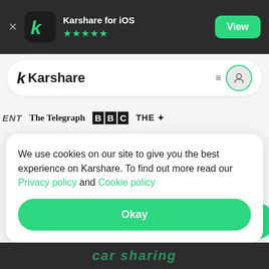[Figure (screenshot): App store banner for Karshare for iOS with 5-star rating and View button]
[Figure (screenshot): Karshare website navbar with logo and user icon]
[Figure (logo): Press logos: ENT, The Telegraph, BBC, THE]
We use cookies on our site to give you the best experience on Karshare. To find out more read our Privacy policy and Cookie policy
Okay